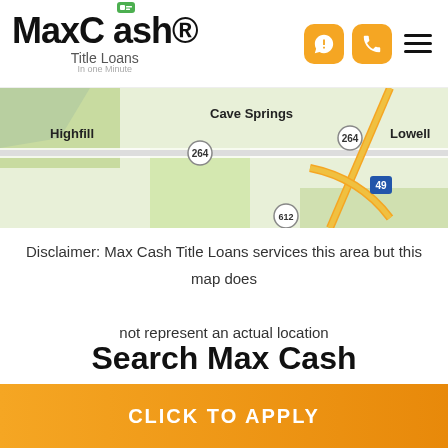[Figure (logo): MaxCash Title Loans logo with orange/green accent]
[Figure (map): Street map showing Cave Springs, Highfill, Lowell area with highways 264, 49, 612]
Disclaimer: Max Cash Title Loans services this area but this map does not represent an actual location
Search Max Cash
CLICK TO APPLY